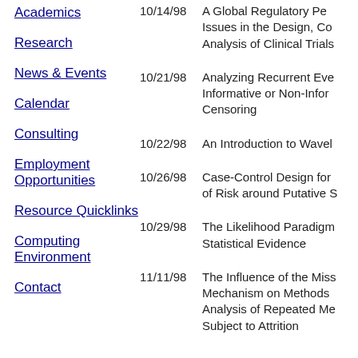Academics
Research
News & Events
Calendar
Consulting
Employment Opportunities
Resource Quicklinks
Computing Environment
Contact
10/14/98 — A Global Regulatory Pe... Issues in the Design, Co... Analysis of Clinical Trials
10/21/98 — Analyzing Recurrent Eve... Informative or Non-Infor... Censoring
10/22/98 — An Introduction to Wavel...
10/26/98 — Case-Control Design for... of Risk around Putative S...
10/29/98 — The Likelihood Paradigm... Statistical Evidence
11/11/98 — The Influence of the Miss... Mechanism on Methods... Analysis of Repeated Me... Subject to Attrition